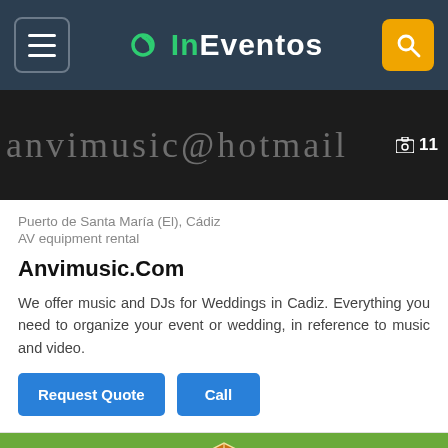InEventos navigation header
[Figure (photo): Dark background image with decorative music/text watermark showing 'anvimusic@hotmail' in stylized lettering, with image count badge showing 11]
Puerto de Santa María (El), Cádiz
AV equipment rental
Anvimusic.Com
We offer music and DJs for Weddings in Cadiz. Everything you need to organize your event or wedding, in reference to music and video.
[Figure (photo): Gold/orange geometric tent or decorative structure on green grass background, viewed from above at an angle]